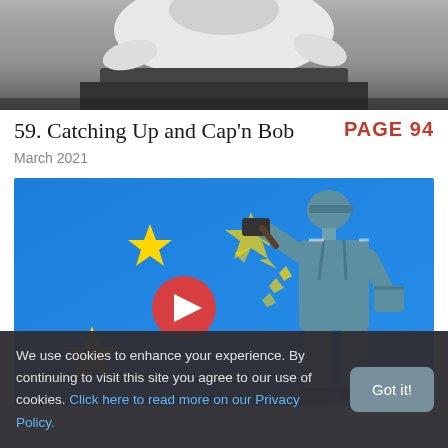[Figure (photo): Grayscale cropped photograph showing a person from behind wearing a white shirt, partially visible at the top of the page.]
59. Catching Up and Cap'n Bob
PAGE 94
March 2021
[Figure (photo): Banksy-style Brexit mural on a blue EU flag background showing a worker in overalls chipping away at one of the yellow stars with a hammer. A red play button overlay is centered on the image.]
We use cookies to enhance your experience. By continuing to visit this site you agree to our use of cookies. Click here to read more on our Privacy Policy.